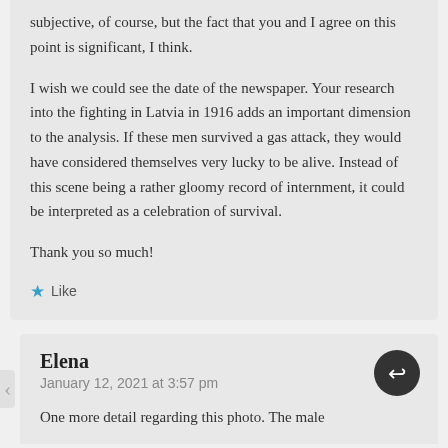subjective, of course, but the fact that you and I agree on this point is significant, I think.
I wish we could see the date of the newspaper. Your research into the fighting in Latvia in 1916 adds an important dimension to the analysis. If these men survived a gas attack, they would have considered themselves very lucky to be alive. Instead of this scene being a rather gloomy record of internment, it could be interpreted as a celebration of survival.
Thank you so much!
Like
Elena
January 12, 2021 at 3:57 pm
One more detail regarding this photo. The male